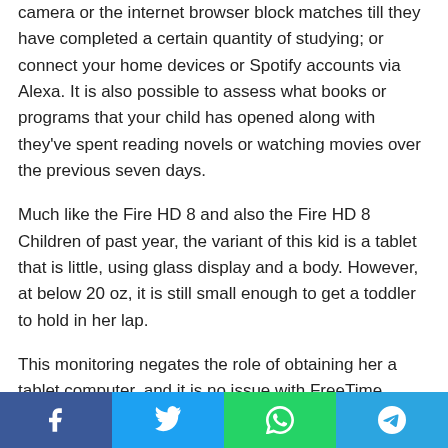camera or the internet browser block matches till they have completed a certain quantity of studying; or connect your home devices or Spotify accounts via Alexa. It is also possible to assess what books or programs that your child has opened along with they've spent reading novels or watching movies over the previous seven days.
Much like the Fire HD 8 and also the Fire HD 8 Children of past year, the variant of this kid is a tablet that is little, using glass display and a body. However, at below 20 oz, it is still small enough to get a toddler to hold in her lap.
This monitoring negates the role of obtaining her a tablet computer, and it is no issue with FreeTime. Even if the novels, movies, videos, and games she chooses are not always what I would pick for her (while composing this, I
[Figure (infographic): Social share bar with four buttons: Facebook (blue), Twitter (light blue), WhatsApp (green), Telegram (blue)]